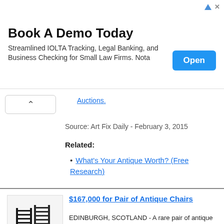[Figure (screenshot): Advertisement banner: 'Book A Demo Today' with Open button]
Auctions.
Source: Art Fix Daily - February 3, 2015
Related:
What's Your Antique Worth? (Free Research)
[Figure (photo): Photo of a pair of antique ladder-back chairs by Charles Rennie Mackintosh]
$167,000 for Pair of Antique Chairs
EDINBURGH, SCOTLAND - A rare pair of antique chairs by Charles Rennie Mackintosh have sold for $167,000 (£109,000). The chairs were sold by Lyon & Turnbull.